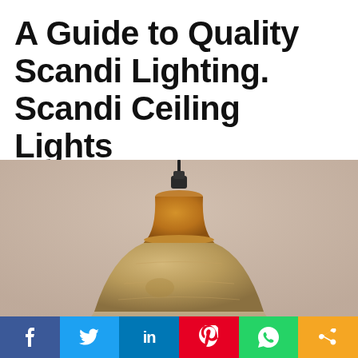A Guide to Quality Scandi Lighting. Scandi Ceiling Lights
[Figure (photo): Close-up photo of a Scandinavian wooden pendant ceiling light with a warm honey-toned wood top piece and a lighter natural wood bell-shaped shade with glass bottom, against a beige/pink wall background.]
[Figure (infographic): Social media sharing bar with buttons: Facebook (blue, f), Twitter (light blue, bird icon), LinkedIn (dark blue, in), Pinterest (red, P), WhatsApp (green, phone icon), Share (orange, < icon)]